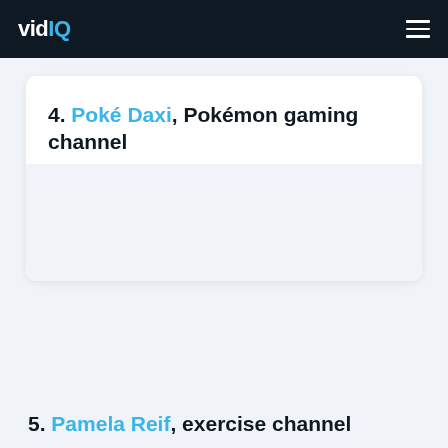vidIQ
4. Poké Daxi, Pokémon gaming channel
5. Pamela Reif, exercise channel